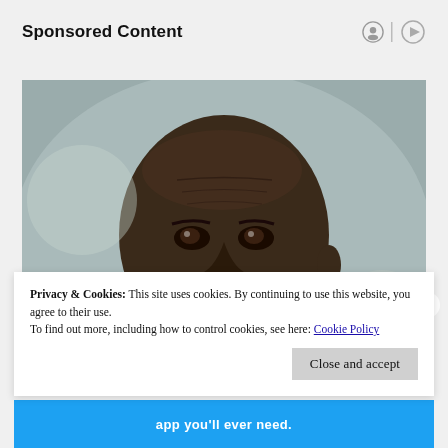Sponsored Content
[Figure (photo): Close-up portrait of a bald Black man with a small earring, slight smile, blurred background]
Privacy & Cookies: This site uses cookies. By continuing to use this website, you agree to their use.
To find out more, including how to control cookies, see here: Cookie Policy
Close and accept
app you'll ever need.